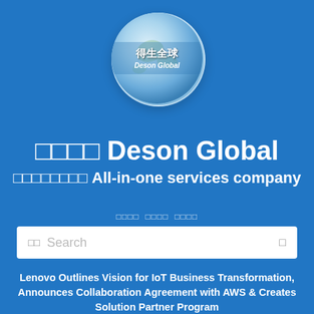[Figure (logo): Globe logo with Chinese text '得生全球' and 'Deson Global' text, circular globe image on blue background]
□□□□ Deson Global □□□□□□□□ All-in-one services company
□□□□  □□□□  □□□□
□□ Search
Lenovo Outlines Vision for IoT Business Transformation, Announces Collaboration Agreement with AWS & Creates Solution Partner Program